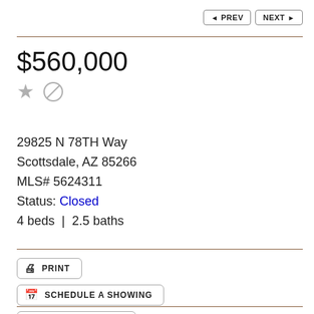PREV | NEXT
$560,000
29825 N 78TH Way
Scottsdale, AZ 85266
MLS# 5624311
Status: Closed
4 beds  |  2.5 baths
PRINT
SCHEDULE A SHOWING
ASK A QUESTION